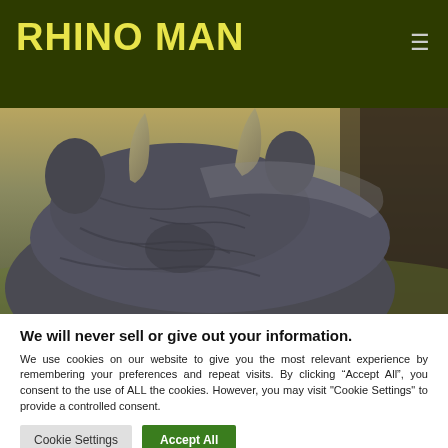RHINO MAN
[Figure (photo): Close-up photograph of a rhinoceros from behind/above showing its back, two horns, and textured grey skin, with a blurred natural background of grass and trees]
We will never sell or give out your information.
We use cookies on our website to give you the most relevant experience by remembering your preferences and repeat visits. By clicking “Accept All”, you consent to the use of ALL the cookies. However, you may visit "Cookie Settings" to provide a controlled consent.
Cookie Settings | Accept All